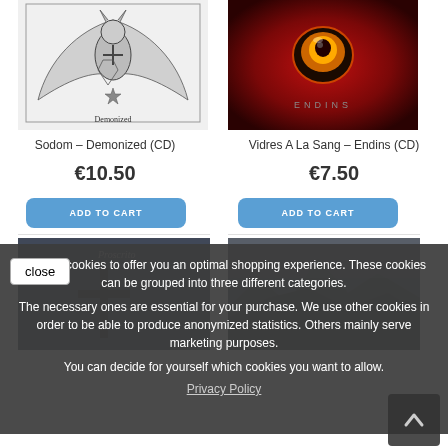[Figure (photo): Sodom - Demonized album cover: black and white illustration of a demonic winged figure with occult symbols]
Sodom – Demonized (CD)
€10.50
[Figure (photo): Vidres A La Sang - Endins album cover: dark red background with glowing eye-like orb]
Vidres A La Sang – Endins (CD)
€7.50
[Figure (photo): Bottom left product image: dark moody album art with cross and text Proscrito]
[Figure (photo): Bottom right product image: dark grey mountain/rocky album art]
We use cookies to offer you an optimal shopping experience. These cookies can be grouped into three different categories.
The necessary ones are essential for your purchase. We use other cookies in order to be able to produce anonymized statistics. Others mainly serve marketing purposes.
You can decide for yourself which cookies you want to allow.
Privacy Policy
close